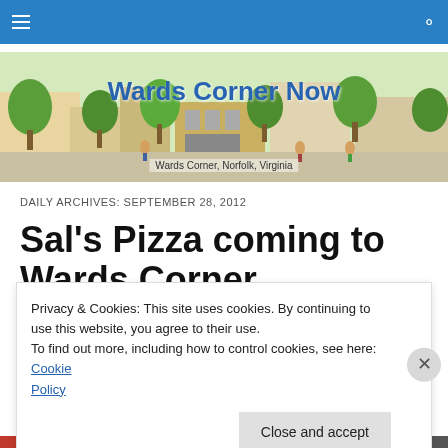Navigation bar with hamburger menu and search icon
[Figure (illustration): Illustrated banner of Wards Corner, Norfolk, Virginia streetscape with buildings, trees, and pedestrians. Site title 'Wards Corner Now' overlaid in blue bold text. Subtitle 'Wards Corner, Norfolk, Virginia' at bottom.]
DAILY ARCHIVES: SEPTEMBER 28, 2012
Sal's Pizza coming to Wards Corner
Privacy & Cookies: This site uses cookies. By continuing to use this website, you agree to their use.
To find out more, including how to control cookies, see here: Cookie Policy
Close and accept